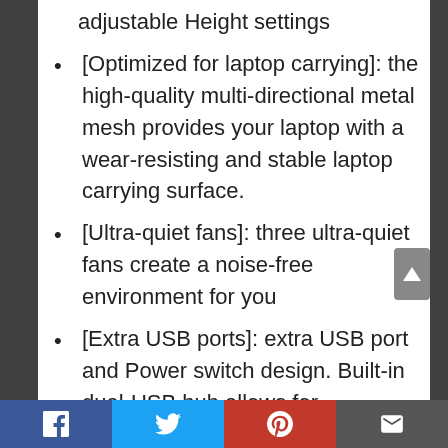adjustable Height settings
[Optimized for laptop carrying]: the high-quality multi-directional metal mesh provides your laptop with a wear-resisting and stable laptop carrying surface.
[Ultra-quiet fans]: three ultra-quiet fans create a noise-free environment for you
[Extra USB ports]: extra USB port and Power switch design. Built-in dual-USB hub allows for connecting more USB devices.Warm tips: The packaged Cable is USB to USB
Facebook | Twitter | Pinterest | Mail